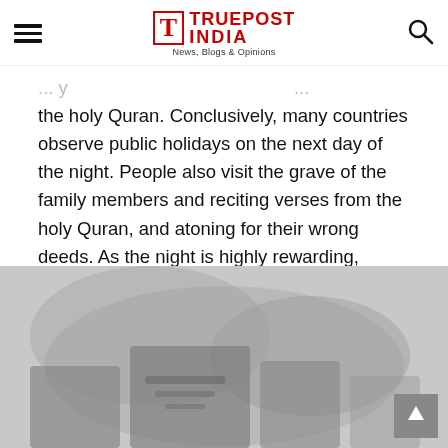TRUEPOST INDIA — News, Blogs & Opinions
the holy Quran. Conclusively, many countries observe public holidays on the next day of the night. People also visit the grave of the family members and reciting verses from the holy Quran, and atoning for their wrong deeds. As the night is highly rewarding, people keep voluntary fasts and pray at night.
[Figure (photo): A faded/greyscale image showing what appears to be Islamic calligraphy or architectural detail, partially visible at the bottom of the page.]